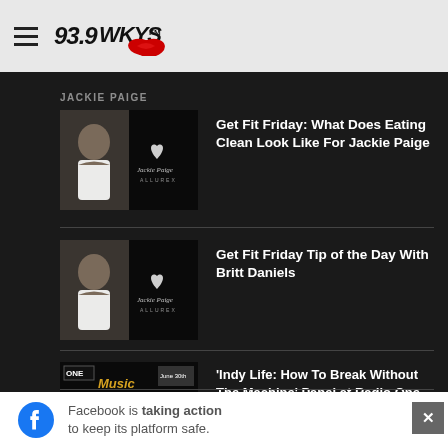93.9 WKYS
JACKIE PAIGE
[Figure (photo): Thumbnail image of Jackie Paige fitness article]
Get Fit Friday: What Does Eating Clean Look Like For Jackie Paige
[Figure (photo): Thumbnail image of Britt Daniels article]
Get Fit Friday Tip of the Day With Britt Daniels
[Figure (photo): Thumbnail image of Radio One Music Monday panel event]
'Indy Life: How To Break Without The Machine' Panel at Radio One Presents The Music...
Facebook is taking action to keep its platform safe.